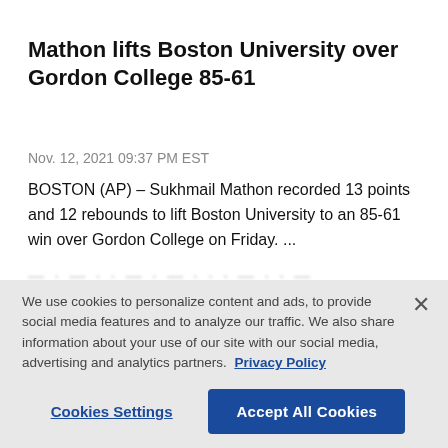Mathon lifts Boston University over Gordon College 85-61
Nov. 12, 2021 09:37 PM EST
BOSTON (AP) – Sukhmail Mathon recorded 13 points and 12 rebounds to lift Boston University to an 85-61 win over Gordon College on Friday. ...
We use cookies to personalize content and ads, to provide social media features and to analyze our traffic. We also share information about your use of our site with our social media, advertising and analytics partners. Privacy Policy
Cookies Settings | Accept All Cookies